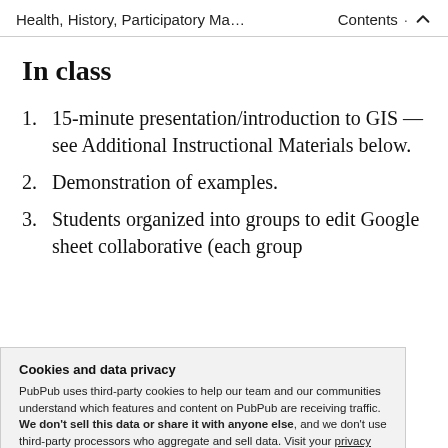Health, History, Participatory Ma… Contents ↑
In class
15-minute presentation/introduction to GIS — see Additional Instructional Materials below.
Demonstration of examples.
Students organized into groups to edit Google sheet collaborative (each group
Cookies and data privacy
PubPub uses third-party cookies to help our team and our communities understand which features and content on PubPub are receiving traffic. We don't sell this data or share it with anyone else, and we don't use third-party processors who aggregate and sell data. Visit your privacy settings to learn more.
Students, in groups, edit attributes of